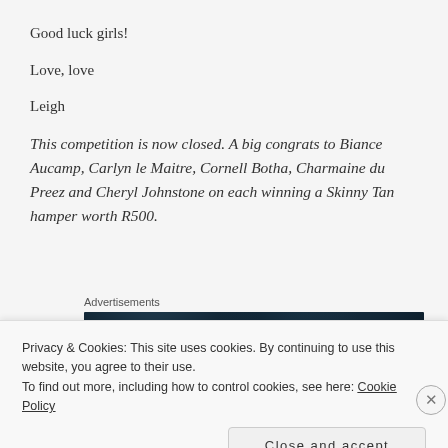Good luck girls!
Love, love
Leigh
This competition is now closed. A big congrats to Biance Aucamp, Carlyn le Maitre, Cornell Botha, Charmaine du Preez and Cheryl Johnstone on each winning a Skinny Tan hamper worth R500.
Advertisements
[Figure (other): Dark blue advertisement banner]
Privacy & Cookies: This site uses cookies. By continuing to use this website, you agree to their use.
To find out more, including how to control cookies, see here: Cookie Policy
Close and accept